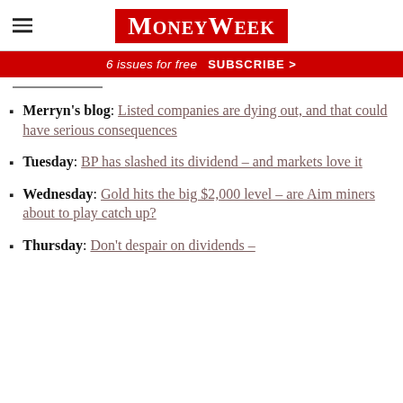MoneyWeek
6 issues for free  SUBSCRIBE >
Merryn's blog: Listed companies are dying out, and that could have serious consequences
Tuesday: BP has slashed its dividend – and markets love it
Wednesday: Gold hits the big $2,000 level – are Aim miners about to play catch up?
Thursday: Don't despair on dividends –